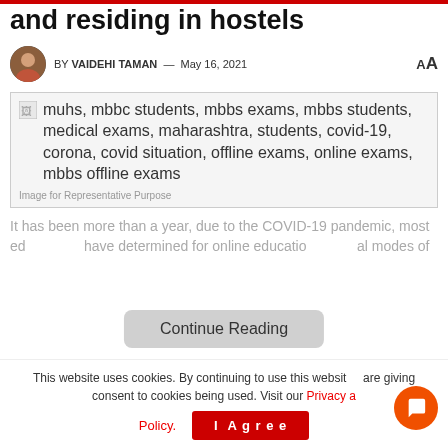and residing in hostels
BY VAIDEHI TAMAN — May 16, 2021
[Figure (photo): Broken image placeholder with alt text: muhs, mbbc students, mbbs exams, mbbs students, medical exams, maharashtra, students, covid-19, corona, covid situation, offline exams, online exams, mbbs offline exams]
Image for Representative Purpose
It has been more than a year, due to the COVID-19 pandemic, most ed have determined for online educatio al modes of
Continue Reading
This website uses cookies. By continuing to use this website are giving consent to cookies being used. Visit our Privacy a Policy.
I Agree